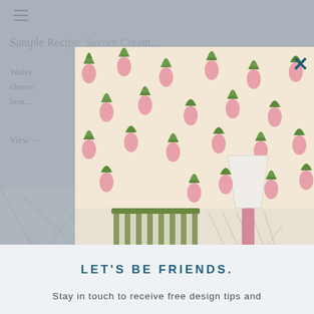[Figure (screenshot): Website screenshot showing a bedroom interior design page partially visible behind a modal popup. Background shows a navigation hamburger menu, page title and text content faded out. A bedroom photo with pineapple wallpaper, colorful pillows (green striped, blue, pink velvet), white lamp and pink flowers is shown in the modal. A white modal card overlays the bottom with newsletter signup text.]
LET’S BE FRIENDS.
Stay in touch to receive free design tips and